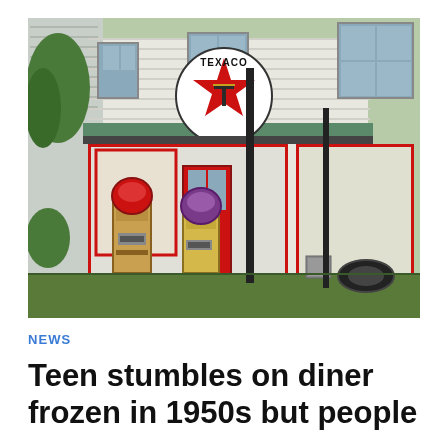[Figure (photo): Vintage Texaco gas station storefront with two old-fashioned wooden gas pumps in the foreground and a large circular Texaco logo sign with red star hanging above the entrance. The building is white with red trim and a green metal roof. Various items are visible in the windows and around the entrance.]
NEWS
Teen stumbles on diner frozen in 1950s but people